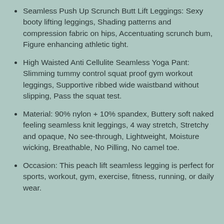Seamless Push Up Scrunch Butt Lift Leggings: Sexy booty lifting leggings, Shading patterns and compression fabric on hips, Accentuating scrunch bum, Figure enhancing athletic tight.
High Waisted Anti Cellulite Seamless Yoga Pant: Slimming tummy control squat proof gym workout leggings, Supportive ribbed wide waistband without slipping, Pass the squat test.
Material: 90% nylon + 10% spandex, Buttery soft naked feeling seamless knit leggings, 4 way stretch, Stretchy and opaque, No see-through, Lightweight, Moisture wicking, Breathable, No Pilling, No camel toe.
Occasion: This peach lift seamless legging is perfect for sports, workout, gym, exercise, fitness, running, or daily wear.